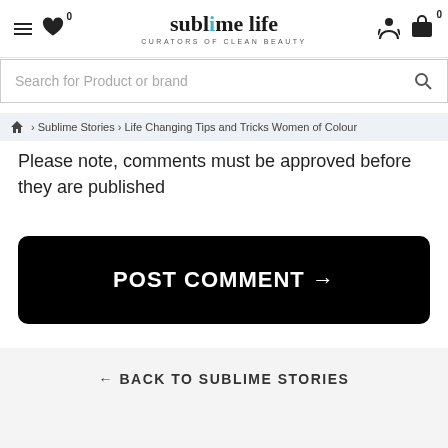sublime life — CURATORS OF CLEAN BEAUTY
Search for Product or brand
🏠 › Sublime Stories › Life Changing Tips and Tricks Women of Colour
Please note, comments must be approved before they are published
POST COMMENT →
← BACK TO SUBLIME STORIES